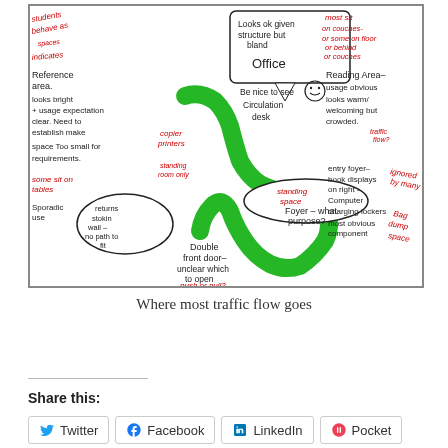[Figure (other): Hand-annotated library floor plan diagram with red and black handwritten notes about different areas (Reference area, Office, Reading Area, Foyer, entry foyer) and a green snake-like shape showing traffic flow path. Notes in red include: students behave as spaces, most sit on couches or some on floor or behind or couches, standing room only, standing space, entry foyer book displays on right, computer charging lockers, bag dump space, ignored by many, returns stokin wall no path to fit, push or pull? left or right?, sporadic use, some sit on tables, Double front door unclear which to open.]
Where most traffic flow goes
Share this: